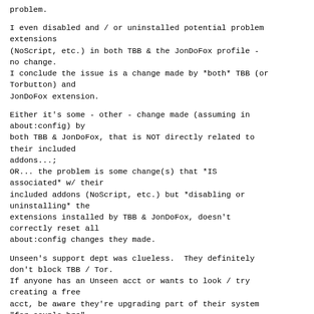problem.
I even disabled and / or uninstalled potential problem extensions
(NoScript, etc.) in both TBB & the JonDoFox profile - no change.
I conclude the issue is a change made by *both* TBB (or Torbutton) and
JonDoFox extension.
Either it's some - other - change made (assuming in about:config) by
both TBB & JonDoFox, that is NOT directly related to their included
addons...;
OR... the problem is some change(s) that *IS associated* w/ their
included addons (NoScript, etc.) but *disabling or uninstalling* the
extensions installed by TBB & JonDoFox, doesn't correctly reset all
about:config changes they made.
Unseen's support dept was clueless.  They definitely don't block TBB / Tor.
If anyone has an Unseen acct or wants to look / try creating a free
acct, be aware they're upgrading part of their system "for couple hrs"
as of Sun. 3/2 @ approx. 2 PM, Pacific Std. Time.
So it may not be available for a while.